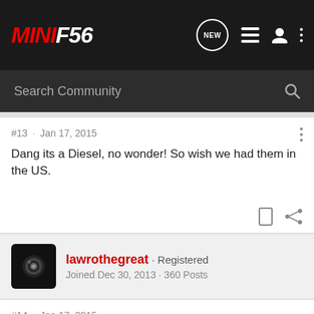MINIF56
Search Community
#13 · Jan 17, 2015
Dang its a Diesel, no wonder! So wish we had them in the US.
lawrothegreat · Registered
Joined Dec 30, 2013 · 360 Posts
#14 · Jan 17, 2015